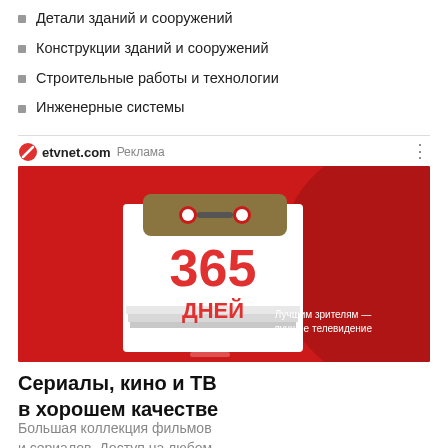Детали зданий и сооружений
Конструкции зданий и сооружений
Строительные работы и технологии
Инженерные системы
etvnet.com Реклама
[Figure (photo): Advertisement banner for etvnet.com showing a calendar/notebook with '365 ДНЕЙ' (365 days) in red text on white pages, with red background and text 'Лучшим зрителям — лучшее телевидение']
Сериалы, кино и ТВ в хорошем качестве
Большая коллекция фильмов и сериалов. Доступ на любом устройстве. Присоединяйтесь!